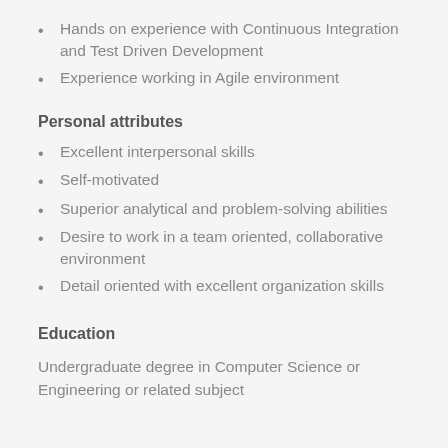Hands on experience with Continuous Integration and Test Driven Development
Experience working in Agile environment
Personal attributes
Excellent interpersonal skills
Self-motivated
Superior analytical and problem-solving abilities
Desire to work in a team oriented, collaborative environment
Detail oriented with excellent organization skills
Education
Undergraduate degree in Computer Science or Engineering or related subject